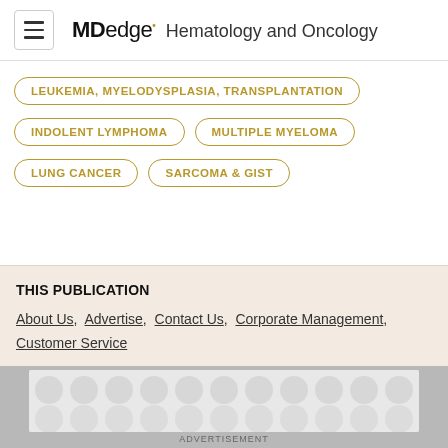MDedge Hematology and Oncology
LEUKEMIA, MYELODYSPLASIA, TRANSPLANTATION
INDOLENT LYMPHOMA
MULTIPLE MYELOMA
LUNG CANCER
SARCOMA & GIST
THIS PUBLICATION
About Us, Advertise, Contact Us, Corporate Management, Customer Service
[Figure (other): Advertisement banner with grey circle pattern background]